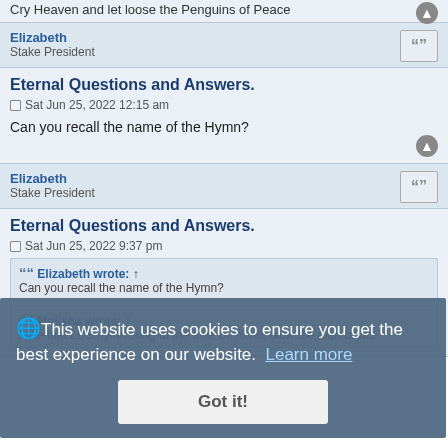Cry Heaven and let loose the Penguins of Peace
Elizabeth
Stake President
Eternal Questions and Answers.
Sat Jun 25, 2022 12:15 am
Can you recall the name of the Hymn?
Elizabeth
Stake President
Eternal Questions and Answers.
Sat Jun 25, 2022 9:37 pm
This website uses cookies to ensure you get the best experience on our website. Learn more
Elizabeth wrote:
Can you recall the name of the Hymn?
Moksha wrote:
I like that LDS hymn sung to the tune of Yo ho, blow the man down.
Got it!